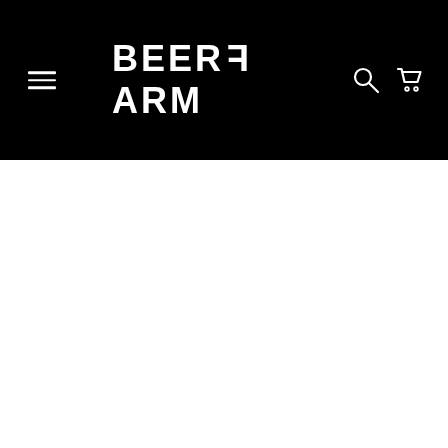BEERFARM
[Figure (other): White content area below the black navigation header]